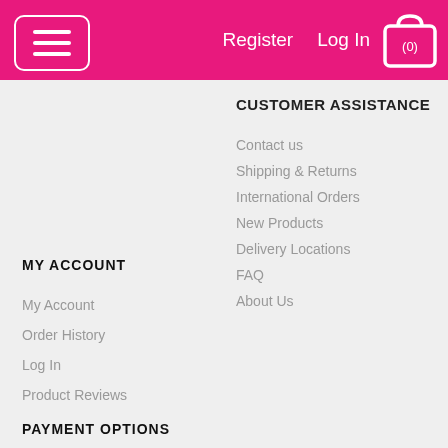Register  Log In  (0)
CUSTOMER ASSISTANCE
Contact us
Shipping & Returns
International Orders
New Products
Delivery Locations
FAQ
About Us
MY ACCOUNT
My Account
Order History
Log In
Product Reviews
PAYMENT OPTIONS